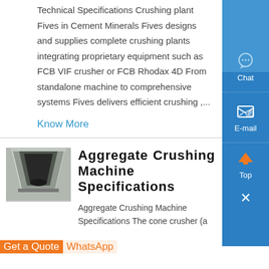Technical Specifications Crushing plant Fives in Cement Minerals Fives designs and supplies complete crushing plants integrating proprietary equipment such as FCB VIF crusher or FCB Rhodax 4D From standalone machine to comprehensive systems Fives delivers efficient crushing ,...
Know More
[Figure (photo): Photo of aggregate crushing machine - a grey concrete hopper/chute structure]
Aggregate Crushing Machine Specifications
Aggregate Crushing Machine Specifications The cone crusher (a
Get a Quote
WhatsApp